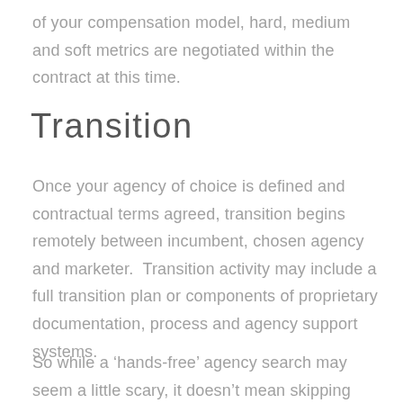of your compensation model, hard, medium and soft metrics are negotiated within the contract at this time.
Transition
Once your agency of choice is defined and contractual terms agreed, transition begins remotely between incumbent, chosen agency and marketer.  Transition activity may include a full transition plan or components of proprietary documentation, process and agency support systems.
So while a ‘hands-free’ agency search may seem a little scary, it doesn’t mean skipping rigour and due